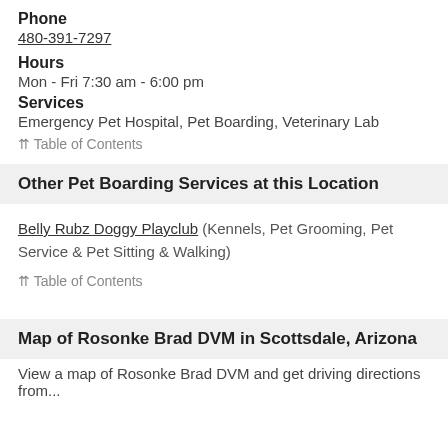Phone
480-391-7297
Hours
Mon - Fri 7:30 am - 6:00 pm
Services
Emergency Pet Hospital, Pet Boarding, Veterinary Lab
⇈ Table of Contents
Other Pet Boarding Services at this Location
Belly Rubz Doggy Playclub (Kennels, Pet Grooming, Pet Service & Pet Sitting & Walking)
⇈ Table of Contents
Map of Rosonke Brad DVM in Scottsdale, Arizona
View a map of Rosonke Brad DVM and get driving directions from...